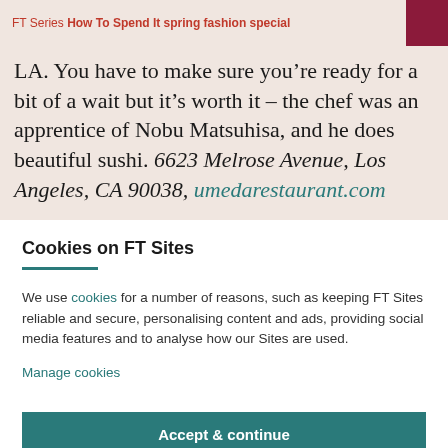FT Series How To Spend It spring fashion special
LA. You have to make sure you’re ready for a bit of a wait but it’s worth it – the chef was an apprentice of Nobu Matsuhisa, and he does beautiful sushi. 6623 Melrose Avenue, Los Angeles, CA 90038, umedarestaurant.com
Cookies on FT Sites
We use cookies for a number of reasons, such as keeping FT Sites reliable and secure, personalising content and ads, providing social media features and to analyse how our Sites are used.
Manage cookies
Accept & continue